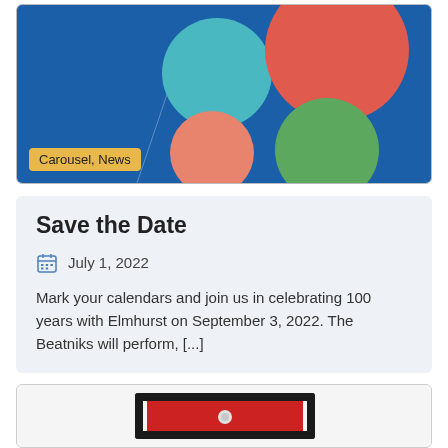[Figure (photo): Blue background with colorful balloons (red, teal, green, salmon) with a yellow tag label reading 'Carousel, News']
Carousel, News
Save the Date
July 1, 2022
Mark your calendars and join us in celebrating 100 years with Elmhurst on September 3, 2022. The Beatniks will perform, [...]
[Figure (photo): Red cast iron or enamel cookware/appliance with black metal rack frame on white background]